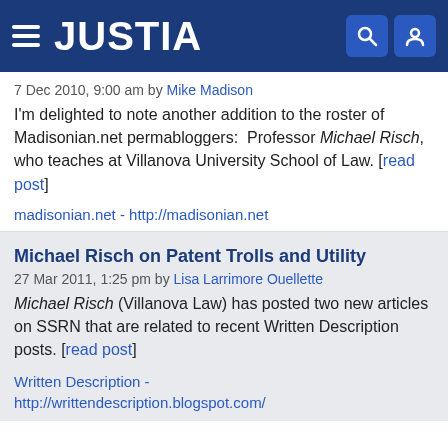JUSTIA
7 Dec 2010, 9:00 am by Mike Madison
I'm delighted to note another addition to the roster of Madisonian.net permabloggers:  Professor Michael Risch, who teaches at Villanova University School of Law. [read post]
madisonian.net - http://madisonian.net
Michael Risch on Patent Trolls and Utility
27 Mar 2011, 1:25 pm by Lisa Larrimore Ouellette
Michael Risch (Villanova Law) has posted two new articles on SSRN that are related to recent Written Description posts. [read post]
Written Description - http://writtendescription.blogspot.com/